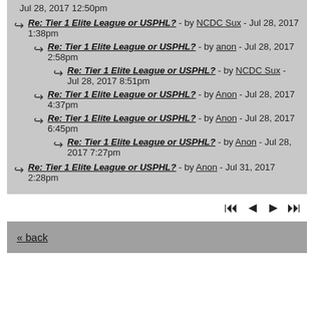Jul 28, 2017 12:50pm
Re: Tier 1 Elite League or USPHL? - by NCDC Sux - Jul 28, 2017 1:38pm
Re: Tier 1 Elite League or USPHL? - by anon - Jul 28, 2017 2:58pm
Re: Tier 1 Elite League or USPHL? - by NCDC Sux - Jul 28, 2017 8:51pm
Re: Tier 1 Elite League or USPHL? - by Anon - Jul 28, 2017 4:37pm
Re: Tier 1 Elite League or USPHL? - by Anon - Jul 28, 2017 6:45pm
Re: Tier 1 Elite League or USPHL? - by Anon - Jul 28, 2017 7:27pm
Re: Tier 1 Elite League or USPHL? - by Anon - Jul 31, 2017 2:28pm
« back